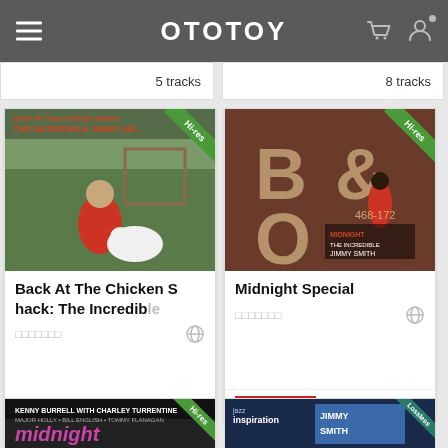OTOTOY
5 tracks
8 tracks
[Figure (photo): Album cover: Back At The Chicken Shack - The Incredible Jimmy Smith, Hi-res badge]
Back At The Chicken Shack: The Incredible
GOOD PRICE! 4 tracks
[Figure (photo): Album cover: Midnight Special - The Incredible Jimmy Smith, Hi-res badge]
Midnight Special
GOOD PRICE! 5 tracks
[Figure (photo): Album cover: Kenny Burrell Midnight Blue, Hi-res badge]
[Figure (photo): Album cover: Jazz Inspiration Jimmy Smith, Lossless badge]